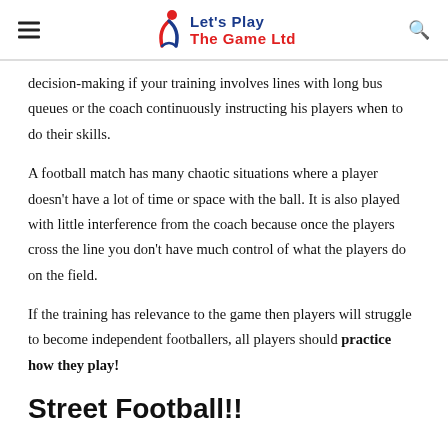Let's Play The Game Ltd
decision-making if your training involves lines with long bus queues or the coach continuously instructing his players when to do their skills.
A football match has many chaotic situations where a player doesn't have a lot of time or space with the ball. It is also played with little interference from the coach because once the players cross the line you don't have much control of what the players do on the field.
If the training has relevance to the game then players will struggle to become independent footballers, all players should practice how they play!
Street Football!!